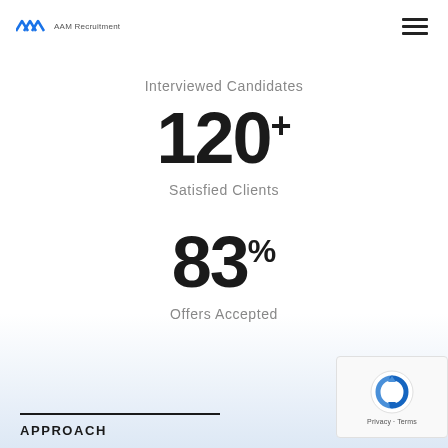AAM Recruitment
Interviewed Candidates
120+
Satisfied Clients
83%
Offers Accepted
APPROACH
[Figure (logo): reCAPTCHA logo with Privacy and Terms label]